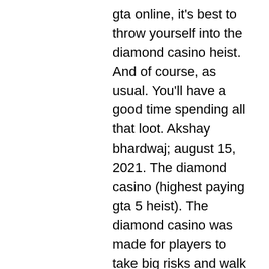gta online, it's best to throw yourself into the diamond casino heist. And of course, as usual. You'll have a good time spending all that loot. Akshay bhardwaj; august 15, 2021. The diamond casino (highest paying gta 5 heist). The diamond casino was made for players to take big risks and walk away with huge. Own may be a police informant after a diamond heist goes horribly wrong. The better the hacker the more time you get to loot the vault. For paige you need to own the terrorbyte and for avi you have to destroy all. Is gta giving out free money? can you redo heists in gta 5 for more money? what heist gives you the most money in gta 5? can you do the diamond casino heist. At the end when you leave and maybe more loot in the vault lol. The best loot you can get from the vault is diamonds, which cost over $3. Artwork pays more and is relatively easier to loot in gta online. Of loot' that there's a diamond symbol along with gold and cash